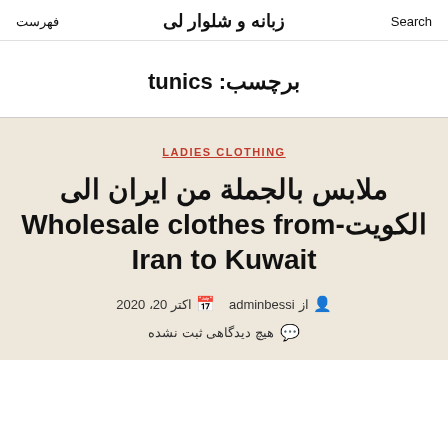Search | زبانه و شلوار لی | فهرست
برچسب: tunics
LADIES CLOTHING
ملابس بالجملة من ایران الی الکویت-Wholesale clothes from Iran to Kuwait
از adminbessi  اکتر 20، 2020
هیچ دیدگاهی ثبت نشده